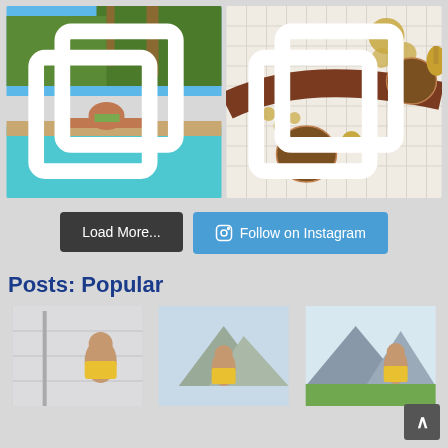[Figure (photo): Instagram photo of a woman in a bikini lounging by a swimming pool with palm trees in background]
[Figure (photo): Instagram photo of jewelry items including brown stone pendants and gold chain on a white woven hat]
Load More...
Follow on Instagram
Posts: Popular
[Figure (photo): Woman in yellow outfit against white/grey background]
[Figure (photo): Woman in yellow outfit with mountains in background]
[Figure (photo): Woman in yellow outfit with mountains in background]